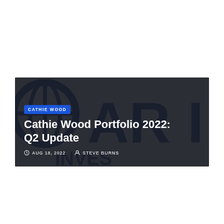[Figure (illustration): Hero banner image with dark background showing partial letters 'ARI' and investment logo. Contains a blue 'CATHIE WOOD' category badge, large white headline 'Cathie Wood Portfolio 2022: Q2 Update', and metadata showing date 'AUG 18, 2022' and author 'STEVE BURNS'.]